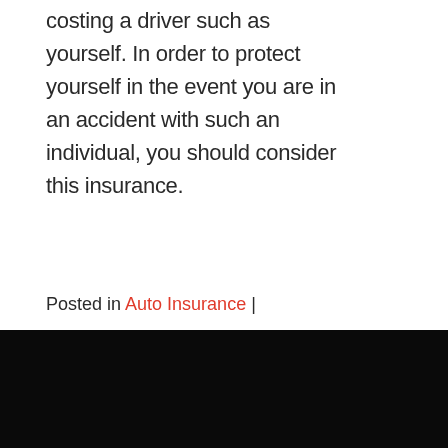costing a driver such as yourself. In order to protect yourself in the event you are in an accident with such an individual, you should consider this insurance.
Posted in Auto Insurance |
About E.S.T.I.R. Inc.
E.S.T.I.R. Inc. is a local Insurance Agency that has been in the